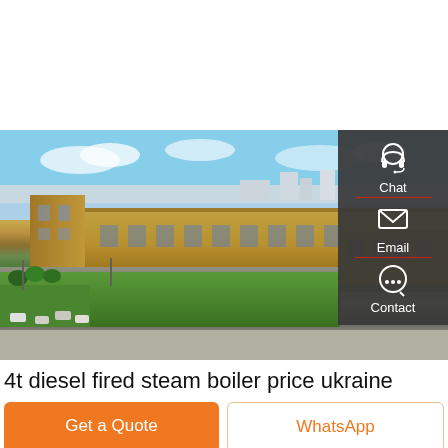[Figure (photo): Aerial view of a large industrial factory complex with long tan/yellow warehouse buildings, green lawn area in front, blue sky with clouds, and industrial facilities in background. A sidebar with Chat, Email, Contact buttons overlays the right side.]
4t diesel fired steam boiler price ukraine
Get a Quote
WhatsApp